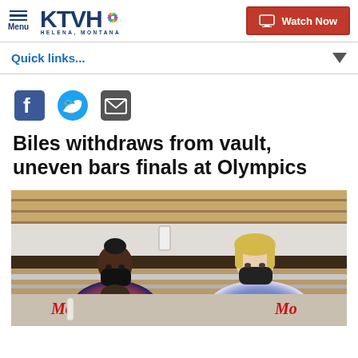Menu | KTVH Helena, Montana | Watch Now
Quick links...
[Figure (screenshot): Social share icons: Facebook, Twitter, Email]
Biles withdraws from vault, uneven bars finals at Olympics
[Figure (photo): Two people wearing black masks and USA tie-dye outfits sitting in the stands at a gymnastics venue, watching the competition.]